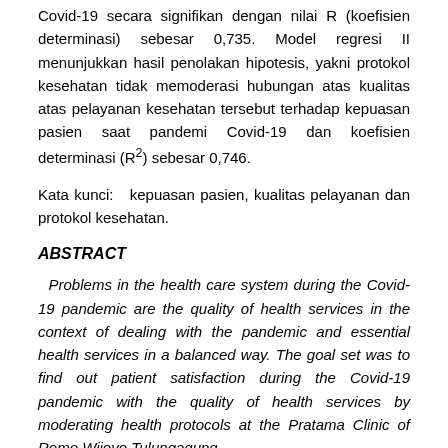Covid-19 secara signifikan dengan nilai R (koefisien determinasi) sebesar 0,735. Model regresi II menunjukkan hasil penolakan hipotesis, yakni protokol kesehatan tidak memoderasi hubungan atas kualitas atas pelayanan kesehatan tersebut terhadap kepuasan pasien saat pandemi Covid-19 dan koefisien determinasi (R²) sebesar 0,746.
Kata kunci: kepuasan pasien, kualitas pelayanan dan protokol kesehatan.
ABSTRACT
Problems in the health care system during the Covid-19 pandemic are the quality of health services in the context of dealing with the pandemic and essential health services in a balanced way. The goal set was to find out patient satisfaction during the Covid-19 pandemic with the quality of health services by moderating health protocols at the Pratama Clinic of Romo Wijoyo Tulungagung.